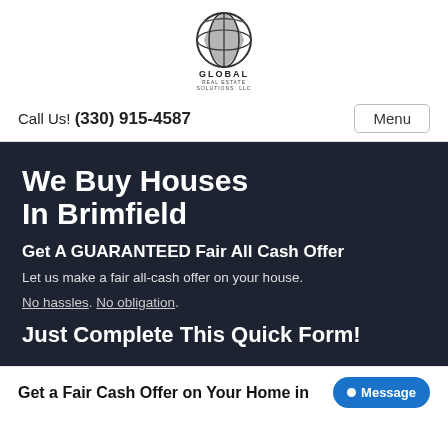[Figure (logo): Global Real Estate Solutions, LLC logo with globe icon]
Call Us! (330) 915-4587
Menu
We Buy Houses In Brimfield
Get A GUARANTEED Fair All Cash Offer
Let us make a fair all-cash offer on your house.
No hassles. No obligation.
Just Complete This Quick Form!
Get a Fair Cash Offer on Your Home in
Message